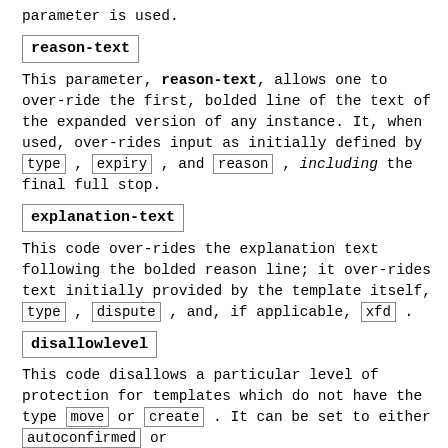parameter is used.
reason-text
This parameter, reason-text, allows one to over-ride the first, bolded line of the text of the expanded version of any instance. It, when used, over-rides input as initially defined by type, expiry, and reason, including the final full stop.
explanation-text
This code over-rides the explanation text following the bolded reason line; it over-rides text initially provided by the template itself, type, dispute, and, if applicable, xfd.
disallowlevel
This code disallows a particular level of protection for templates which do not have the type move or create. It can be set to either autoconfirmed or sysop to disable the template on semi-protected or